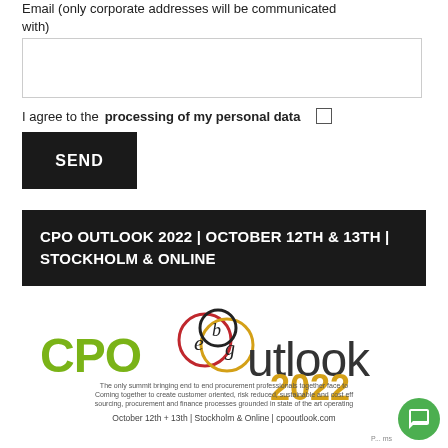Email (only corporate addresses will be communicated with)
I agree to the processing of my personal data
SEND
CPO OUTLOOK 2022 | OCTOBER 12TH & 13TH | STOCKHOLM & ONLINE
[Figure (logo): CPO Outlook 2022 logo with ebg circles in red, dark, and gold colors, green CPO text, dark outlook text, gold 2022 text]
The only summit bringing end to end procurement professionals together face to face. Coming together to create customer oriented, risk reduced, sustainable and cost efficient sourcing, procurement and finance processes grounded in state of the art operating models.
October 12th + 13th | Stockholm & Online | cpooutlook.com